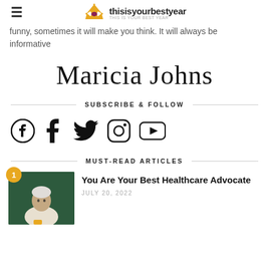thisisyourbestyear
funny, sometimes it will make you think. It will always be informative
Maricia Johns
SUBSCRIBE & FOLLOW
[Figure (infographic): Social media icons: Facebook, Tumblr, Twitter, Instagram, YouTube]
MUST-READ ARTICLES
[Figure (photo): Elderly person sitting, appears to be looking at something in their hands, dark green background]
You Are Your Best Healthcare Advocate
JULY 20, 2022